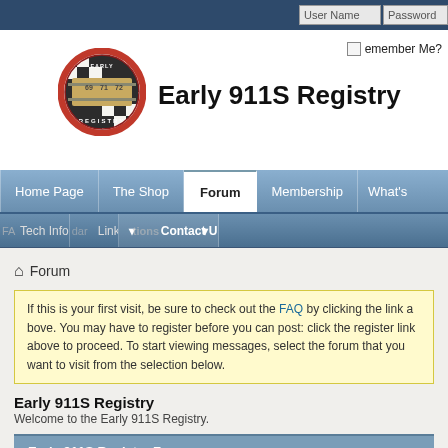[Figure (screenshot): Early 911S Registry website screenshot showing header with logo, navigation bar, breadcrumb, notice box, and forum section header]
Early 911S Registry
User Name  Password
[Figure (logo): Early 911S Registry circular logo with checkered flag and racing numbers 69 71 72]
Early 911S Registry
Remember Me?
Home Page  The Shop  Forum  Membership  What's
FAQ  Tech Info  Calendar  Forum options  Contact Us
Forum
If this is your first visit, be sure to check out the FAQ by clicking the link above. You may have to register before you can post: click the register link above to proceed. To start viewing messages, select the forum that you want to visit from the selection below.
Early 911S Registry
Welcome to the Early 911S Registry.
Early 911S Registry Forums